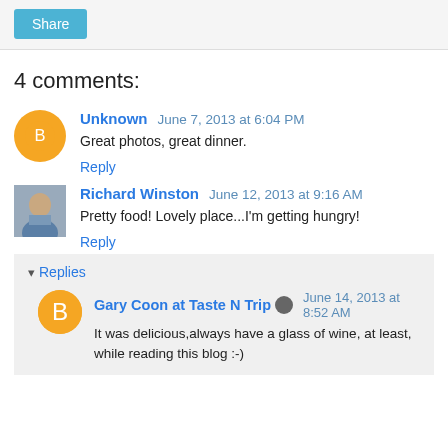Share
4 comments:
Unknown  June 7, 2013 at 6:04 PM
Great photos, great dinner.
Reply
Richard Winston  June 12, 2013 at 9:16 AM
Pretty food! Lovely place...I'm getting hungry!
Reply
Replies
Gary Coon at Taste N Trip  June 14, 2013 at 8:52 AM
It was delicious,always have a glass of wine, at least, while reading this blog :-)